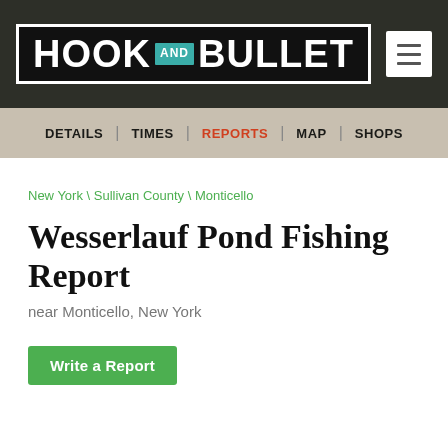[Figure (logo): Hook and Bullet website logo — white text on dark background with teal 'AND' badge, inside a white border rectangle]
DETAILS | TIMES | REPORTS | MAP | SHOPS
New York \ Sullivan County \ Monticello
Wesserlauf Pond Fishing Report
near Monticello, New York
Write a Report